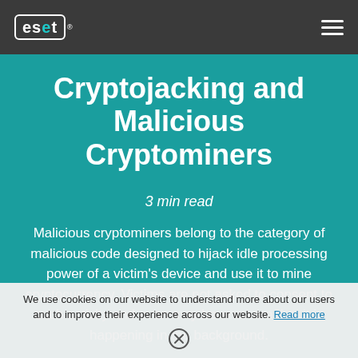ESET [logo] [hamburger menu]
Cryptojacking and Malicious Cryptominers
3 min read
Malicious cryptominers belong to the category of malicious code designed to hijack idle processing power of a victim's device and use it to mine cryptocurrency. Victims are not asked to consent to such activity and even may be unaware that it is happening in the background.
We use cookies on our website to understand more about our users and to improve their experience across our website. Read more